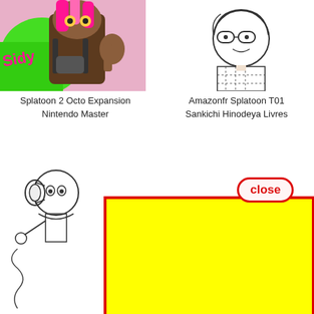[Figure (illustration): Splatoon 2 Octo Expansion colorful Nintendo character illustration - top left]
Splatoon 2 Octo Expansion Nintendo Master
[Figure (illustration): Amazonfr Splatoon T01 Sankichi Hinodeya book cover illustration - top right, black and white character with glasses]
Amazonfr Splatoon T01 Sankichi Hinodeya Livres
[Figure (illustration): Bottom left Splatoon manga-style black and white illustration with decorative bubbles]
Les 68 ... 
Splat...
[Figure (screenshot): Close button UI element with red border and rounded rectangle, yellow overlay advertisement box covering part of page, partial red text 'res' visible]
...curorg